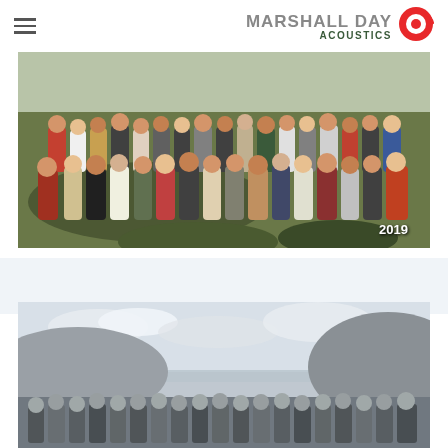Marshall Day Acoustics
[Figure (photo): Color group photo of Marshall Day Acoustics staff outdoors on a grassy hillside, year label 2019 in bottom right corner]
[Figure (photo): Black and white group photo of staff outdoors near water with hills and cloudy sky in background]